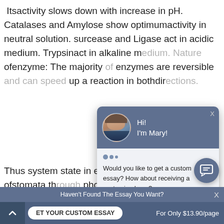Itsactivity slows down with increase in pH. Catalases and Amylose show optimumactivity in neutral solution. surcease and Ligase act in acidic medium. Trypsinact in alkaline m[edium. Nature] ofenzyme: The majority [of] enzymes are reversible [and can speed] up a reaction in bothdir[ections.]
Thus system state in eq[uilibrium in the] guard cell ofstomata th[rough] phosphorylase convert [starch and] inorganicphosphate int[o glucose-] reaction depend upon s[ugar concentration,] pH and chemical potential of both reactions.
[Figure (screenshot): Chat widget popup overlay with avatar of a woman labeled 'Hi! I'm Mary!' and a message 'Would you like to get a custom essay? How about receiving a customized one?' with a 'Check it out' link. A close X button is in the top right of the popup.]
[Figure (screenshot): Chat bubble icon button in the bottom right area of the page.]
Haven't Found The Essay You Want? X  GET YOUR CUSTOM ESSAY   For Only $13.90/page